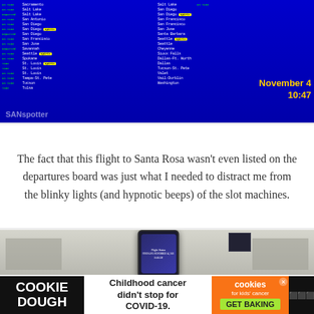[Figure (photo): Airport departures board with blue background showing flight information in white and yellow text, with Spirit Airlines flights highlighted in yellow. Shows flight destinations, times, gates, and statuses. Date/time overlay shows 'November 4, 10:47'. SANspotter watermark in bottom left.]
The fact that this flight to Santa Rosa wasn't even listed on the departures board was just what I needed to distract me from the blinky lights (and hypnotic beeps) of the slot machines.
[Figure (photo): Airport gate area interior with rows of seats, a person holding a smartphone displaying a flight status screen, and TV screens visible in the background.]
[Figure (photo): Advertisement banner: Cookie Dough brand with text 'Childhood cancer didn't stop for COVID-19.' and Cookies for Kids' Cancer 'GET BAKING' call to action.]